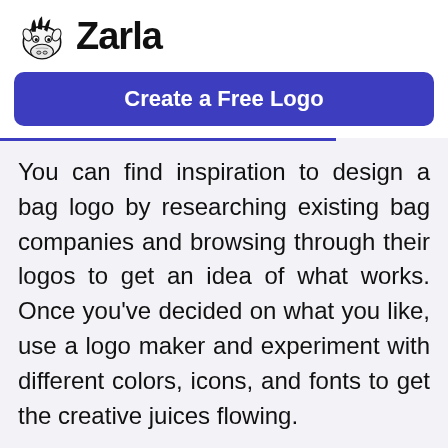[Figure (logo): Zarla logo with cartoon zebra mascot and bold 'Zarla' text]
Create a Free Logo
You can find inspiration to design a bag logo by researching existing bag companies and browsing through their logos to get an idea of what works. Once you've decided on what you like, use a logo maker and experiment with different colors, icons, and fonts to get the creative juices flowing.